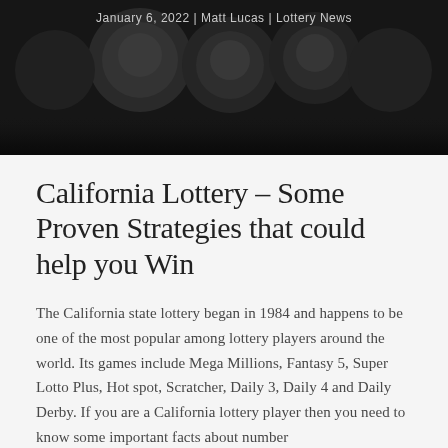January 6, 2022 | Matt Lucas | Lottery News
[Figure (photo): Dark header image showing lottery balls or chess pieces in low-key monochrome lighting]
California Lottery – Some Proven Strategies that could help you Win
The California state lottery began in 1984 and happens to be one of the most popular among lottery players around the world. Its games include Mega Millions, Fantasy 5, Super Lotto Plus, Hot spot, Scratcher, Daily 3, Daily 4 and Daily Derby. If you are a California lottery player then you need to know some important facts about number